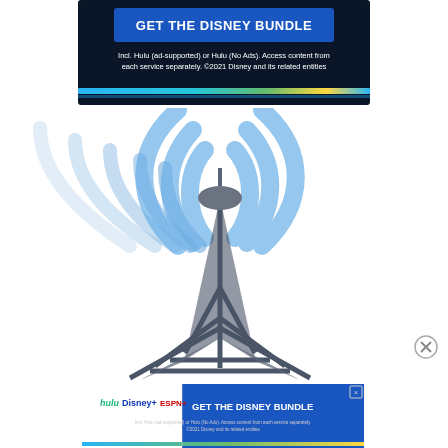[Figure (screenshot): Disney Bundle advertisement banner with dark navy background, blue button reading GET THE DISNEY BUNDLE, and fine print below: Incl. Hulu (ad-supported) or Hulu (No Ads). Access content from each service separately. ©2021 Disney and its related entities. Colorful stripe at bottom.]
[Figure (illustration): Wireless transmission tower with broadcast signal waves radiating left and right in blue, displayed on white background]
[Figure (screenshot): Smaller Disney Bundle banner ad at bottom with Hulu, Disney+, ESPN+ logos on white left panel and GET THE DISNEY BUNDLE text on blue right panel, with fine print and close X button]